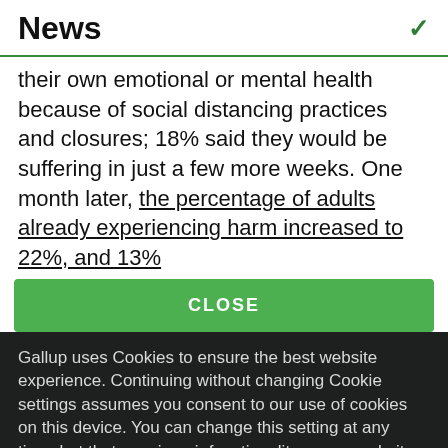News
their own emotional or mental health because of social distancing practices and closures; 18% said they would be suffering in just a few more weeks. One month later, the percentage of adults already experiencing harm increased to 22%, and 13%
CLOSE
Gallup uses Cookies to ensure the best website experience. Continuing without changing Cookie settings assumes you consent to our use of cookies on this device. You can change this setting at any time, but that may impair functionality on our websites.
Privacy Statement   Site Terms of Use and Sale
Product Terms of Use   Adjust your cookie settings.